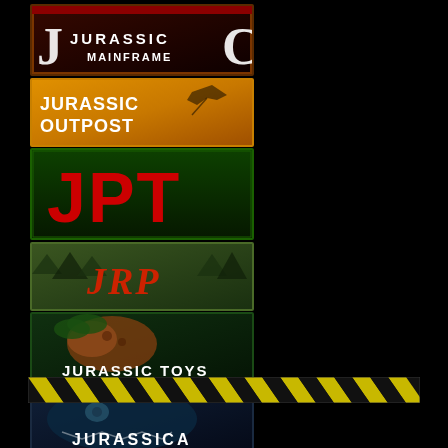[Figure (logo): Jurassic Mainframe banner - dark red/brown background with dinosaur logo and white text]
[Figure (logo): Jurassic Outpost banner - orange/amber background with flying pterosaur silhouette and white text]
[Figure (logo): JPT banner - green background with large red JPT letters]
[Figure (logo): JRP banner - forest background with red cursive JRP text]
[Figure (logo): Jurassic Toys banner - dark green background with dinosaur and white text]
[Figure (logo): Jurassica banner - dark blue/teal background with dinosaur face and white text]
[Figure (illustration): Yellow and black diagonal hazard stripe bar]